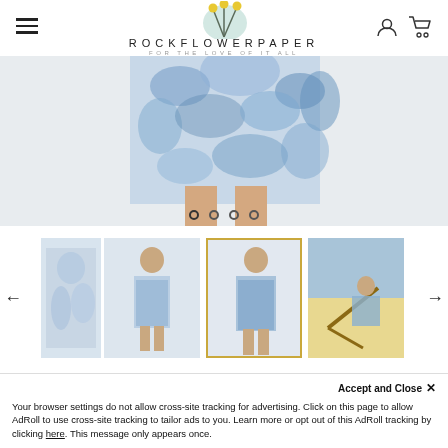[Figure (logo): Rockflowerpaper logo with illustrated plant stems and yellow buds on a mint green circle background. Text reads ROCKFLOWERPAPER / FOR THE LOVE OF IT ALL]
[Figure (photo): Hero product image showing close-up of lower half of a woman wearing a blue and white floral/leaf print dress, cropped at waist and knees]
[Figure (photo): Thumbnail gallery row with 4 product photos of woman wearing Amora blu Cotton Pintuck Beach Cover Up in various poses including beach setting]
Amora blu Cotton Pintuck Beach Cover Up
Your browser settings do not allow cross-site tracking for advertising. Click on this page to allow AdRoll to use cross-site tracking to tailor ads to you. Learn more or opt out of this AdRoll tracking by clicking here. This message only appears once.